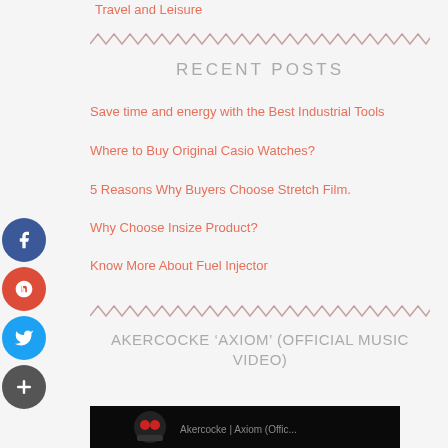Travel and Leisure
[Figure (other): Zigzag/wavy decorative divider line]
RECENT POSTS
Save time and energy with the Best Industrial Tools
Where to Buy Original Casio Watches?
5 Reasons Why Buyers Choose Stretch Film.
Why Choose Insize Product?
Know More About Fuel Injector
[Figure (other): Zigzag/wavy decorative divider line]
AKERCOCKE ‘AXIOM’ (OFFICIAL MUSIC VIDEO)
[Figure (screenshot): Video thumbnail showing a skull with red eyes on dark background]